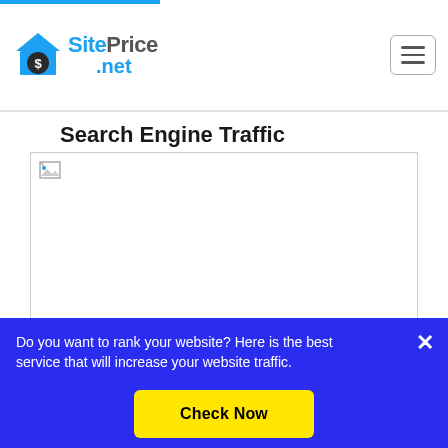SitePrice .net
Search Engine Traffic
[Figure (other): Broken image placeholder for a search engine traffic chart]
Do you want to rank your website? Here is the best service that will increase your website traffic.